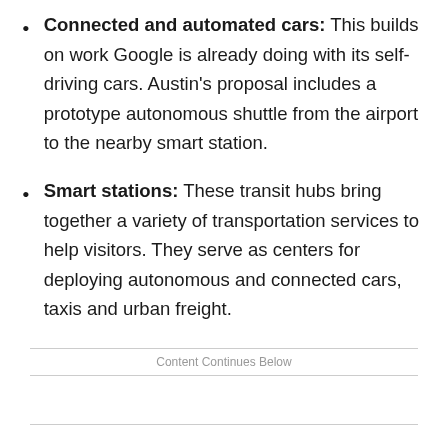Connected and automated cars: This builds on work Google is already doing with its self-driving cars. Austin's proposal includes a prototype autonomous shuttle from the airport to the nearby smart station.
Smart stations: These transit hubs bring together a variety of transportation services to help visitors. They serve as centers for deploying autonomous and connected cars, taxis and urban freight.
Content Continues Below
Mobility marketplace: The idea is to connect